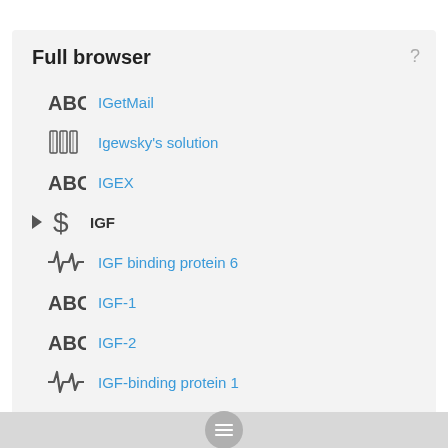Full browser
IGetMail
Igewsky's solution
IGEX
IGF
IGF binding protein 6
IGF-1
IGF-2
IGF-binding protein 1